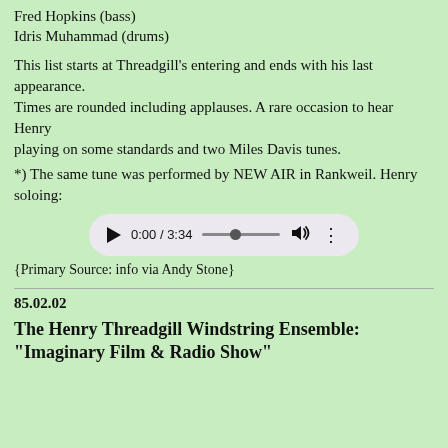Fred Hopkins (bass)
Idris Muhammad (drums)
This list starts at Threadgill's entering and ends with his last appearance.
Times are rounded including applauses. A rare occasion to hear Henry playing on some standards and two Miles Davis tunes.
*) The same tune was performed by NEW AIR in Rankweil. Henry soloing:
[Figure (other): Audio player widget showing 0:00 / 3:34 with play button, progress bar, volume and more options icons]
{Primary Source: info via Andy Stone}
85.02.02
The Henry Threadgill Windstring Ensemble: "Imaginary Film & Radio Show"